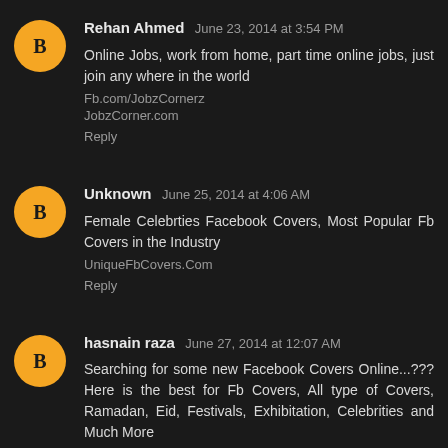Rehan Ahmed June 23, 2014 at 3:54 PM
Online Jobs, work from home, part time online jobs, just join any where in the world
Fb.com/JobzCornerz
JobzCorner.com
Reply
Unknown June 25, 2014 at 4:06 AM
Female Celebrties Facebook Covers, Most Popular Fb Covers in the Industry
UniqueFbCovers.Com
Reply
hasnain raza June 27, 2014 at 12:07 AM
Searching for some new Facebook Covers Online...??? Here is the best for Fb Covers, All type of Covers, Ramadan, Eid, Festivals, Exhibitation, Celebrities and Much More